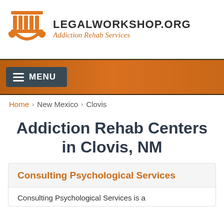[Figure (logo): LegalWorkshop.org logo with orange column/pillar icon and hands, with text 'LEGALWORKSHOP.ORG' and subtitle 'Addiction Rehab Services']
MENU navigation bar
Home › New Mexico › Clovis
Addiction Rehab Centers in Clovis, NM
Consulting Psychological Services
Consulting Psychological Services is a